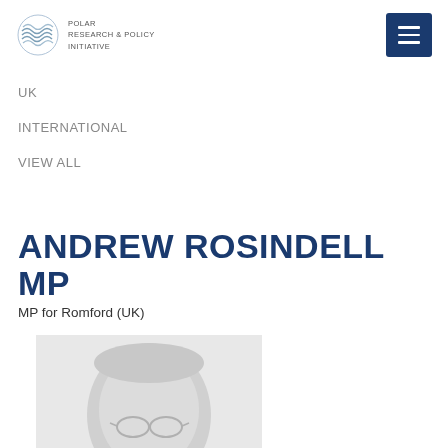[Figure (logo): Polar Research & Policy Initiative logo with concentric wave lines icon and text]
UK
INTERNATIONAL
VIEW ALL
ANDREW ROSINDELL MP
MP for Romford (UK)
[Figure (photo): Grayscale portrait photo of Andrew Rosindell MP, head and shoulders visible]